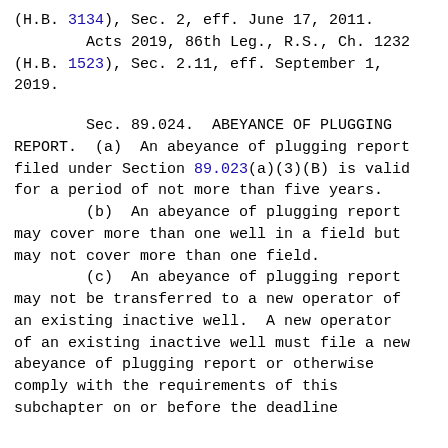(H.B. 3134), Sec. 2, eff. June 17, 2011.
        Acts 2019, 86th Leg., R.S., Ch. 1232 (H.B. 1523), Sec. 2.11, eff. September 1, 2019.
Sec. 89.024.  ABEYANCE OF PLUGGING REPORT.  (a)  An abeyance of plugging report filed under Section 89.023(a)(3)(B) is valid for a period of not more than five years.
        (b)  An abeyance of plugging report may cover more than one well in a field but may not cover more than one field.
        (c)  An abeyance of plugging report may not be transferred to a new operator of an existing inactive well.  A new operator of an existing inactive well must file a new abeyance of plugging report or otherwise comply with the requirements of this subchapter on or before the deadline